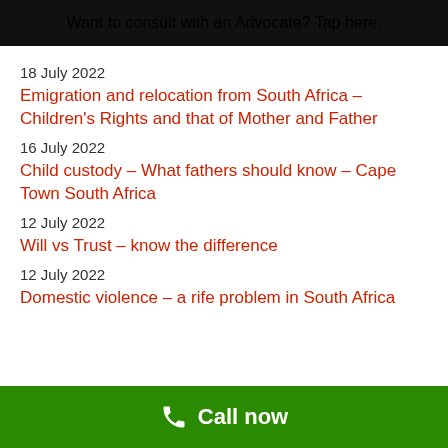Want to consult with an Advocate? Tap here.
18 July 2022
Emigration and relocation from South Africa – Children's Rights and that of Mother and Father
16 July 2022
Child custody – What fathers should know – Cape Town South Africa
12 July 2022
Will vs Trust – know the difference
12 July 2022
Domestic violence – a rife problem in South Africa
Call now